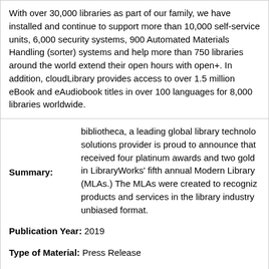With over 30,000 libraries as part of our family, we have installed and continue to support more than 10,000 self-service units, 6,000 security systems, 900 Automated Materials Handling (sorter) systems and help more than 750 libraries around the world extend their open hours with open+. In addition, cloudLibrary provides access to over 1.5 million eBook and eAudiobook titles in over 100 languages for 8,000 libraries worldwide.
Summary: bibliotheca, a leading global library technology solutions provider is proud to announce that received four platinum awards and two gold in LibraryWorks' fifth annual Modern Library (MLAs.) The MLAs were created to recognize products and services in the library industry unbiased format.
Publication Year: 2019
Type of Material: Press Release
Language: English